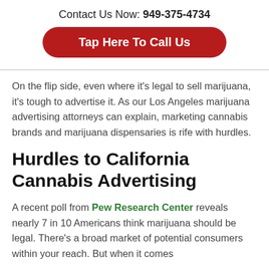Contact Us Now: 949-375-4734
Tap Here To Call Us
On the flip side, even where it's legal to sell marijuana, it's tough to advertise it. As our Los Angeles marijuana advertising attorneys can explain, marketing cannabis brands and marijuana dispensaries is rife with hurdles.
Hurdles to California Cannabis Advertising
A recent poll from Pew Research Center reveals nearly 7 in 10 Americans think marijuana should be legal. There's a broad market of potential consumers within your reach. But when it comes